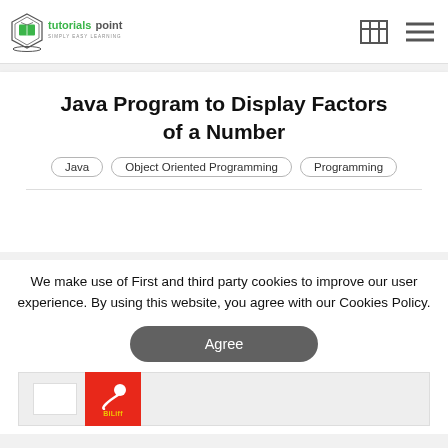tutorialspoint SIMPLY EASY LEARNING
Java Program to Display Factors of a Number
Java
Object Oriented Programming
Programming
We make use of First and third party cookies to improve our user experience. By using this website, you agree with our Cookies Policy.
Agree
[Figure (other): Advertisement banner with red icon featuring sperm graphic and BiLiff branding]